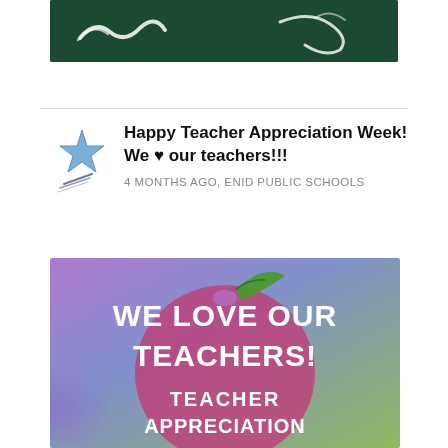[Figure (photo): Dark green chalkboard image at the top with chalk-drawn decorative lines]
Happy Teacher Appreciation Week! We ♥ our teachers!!!
4 MONTHS AGO, ENID PUBLIC SCHOOLS
[Figure (photo): Colorful gradient image with purple/green/blue background, large pink apple with green leaf, white bold text reading WE LOVE OUR TEACHERS! and TEACHER APPRECIATION at the bottom]